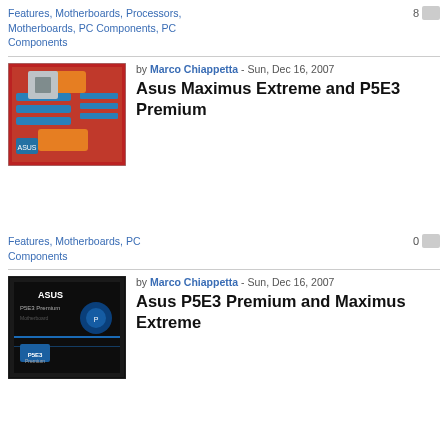Features, Motherboards, Processors, Motherboards, PC Components, PC Components
8
[Figure (photo): Photo of an ASUS motherboard with blue and orange components on a red PCB.]
by Marco Chiappetta - Sun, Dec 16, 2007
Asus Maximus Extreme and P5E3 Premium
Features, Motherboards, PC Components
0
[Figure (photo): Photo of ASUS P5E3 Premium product box, black box with blue accents.]
by Marco Chiappetta - Sun, Dec 16, 2007
Asus P5E3 Premium and Maximus Extreme